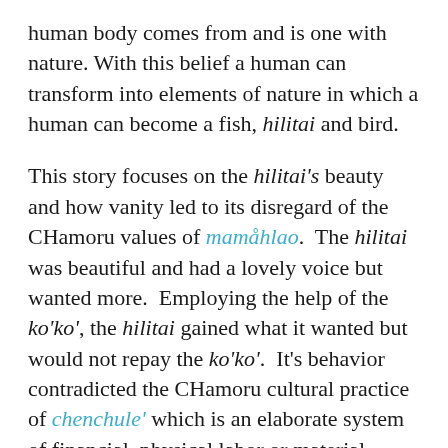human body comes from and is one with nature. With this belief a human can transform into elements of nature in which a human can become a fish, hilitai and bird.
This story focuses on the hilitai's beauty and how vanity led to its disregard of the CHamoru values of mamåhlao. The hilitai was beautiful and had a lovely voice but wanted more. Employing the help of the ko'ko', the hilitai gained what it wanted but would not repay the ko'ko'. It's behavior contradicted the CHamoru cultural practice of chenchule' which is an elaborate system of financial, physical labor or material support from friends and family made to aid one in times of need or celebration. As punishment for not repaying or helping the ko'ko' the hilitai is